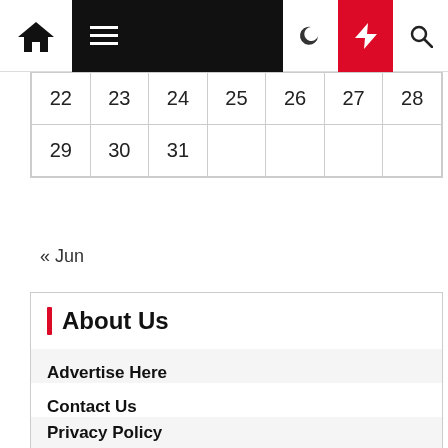Navigation bar with home, menu, moon, bolt, and search icons
| 22 | 23 | 24 | 25 | 26 | 27 | 28 |
| 29 | 30 | 31 |  |  |  |  |
« Jun
About Us
Advertise Here
Contact Us
Privacy Policy
Sitemap